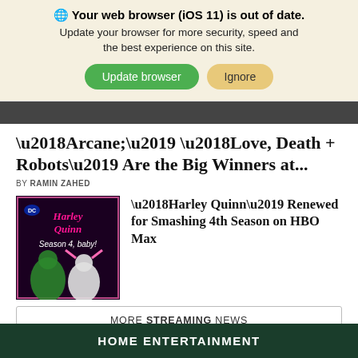🌐 Your web browser (iOS 11) is out of date. Update your browser for more security, speed and the best experience on this site. Update browser | Ignore
[Figure (photo): Dark cropped banner image strip from a news article]
‘Arcane;’ ‘Love, Death + Robots’ Are the Big Winners at...
BY RAMIN ZAHED
[Figure (photo): Harley Quinn Season 4 promotional image with stylized text on dark background showing cartoon characters]
‘Harley Quinn’ Renewed for Smashing 4th Season on HBO Max
MORE STREAMING NEWS
HOME ENTERTAINMENT